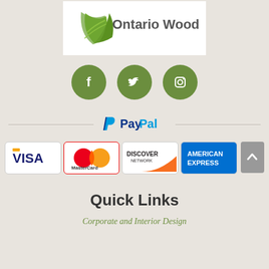[Figure (logo): Ontario Wood company logo with green leaf icon and grey text]
[Figure (infographic): Three green circle social media icons: Facebook (f), Twitter (bird), Instagram (camera)]
[Figure (logo): PayPal logo with blue P icon and blue/dark blue PayPal text, horizontal line divider]
[Figure (infographic): Four payment card logos: VISA (blue/yellow), MasterCard (red/yellow/orange), Discover Network (orange/silver), American Express (blue)]
Quick Links
Corporate and Interior Design